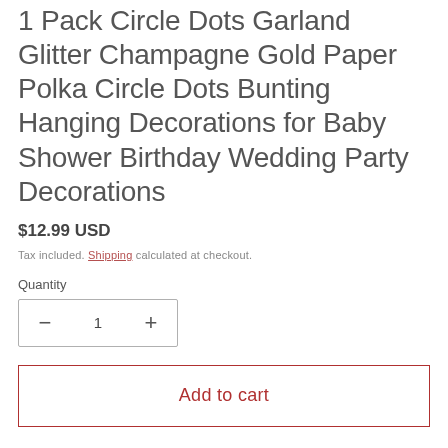1 Pack Circle Dots Garland Glitter Champagne Gold Paper Polka Circle Dots Bunting Hanging Decorations for Baby Shower Birthday Wedding Party Decorations
$12.99 USD
Tax included. Shipping calculated at checkout.
Quantity
1
Add to cart